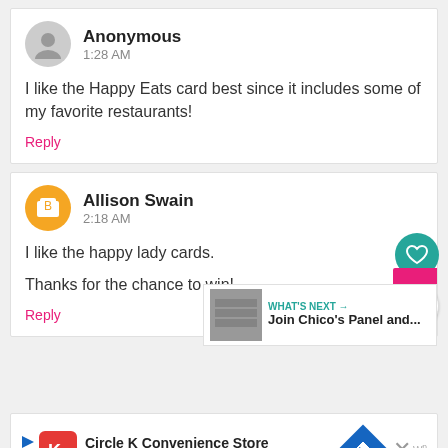Anonymous
1:28 AM
I like the Happy Eats card best since it includes some of my favorite restaurants!
Reply
Allison Swain
2:18 AM
I like the happy lady cards.

Thanks for the chance to win!
Reply
WHAT'S NEXT → Join Chico's Panel and...
[Figure (screenshot): Circle K Convenience Store advertisement banner with Circle K logo and navigation icon]